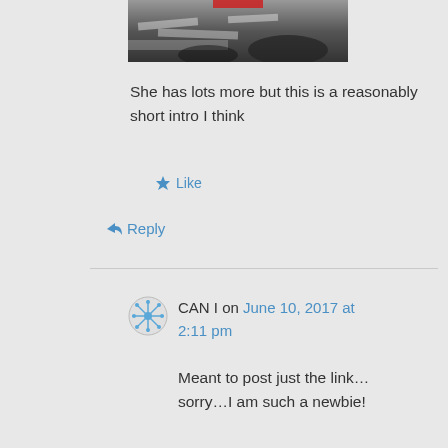[Figure (photo): Partial photo showing hands writing on papers, dark tones]
She has lots more but this is a reasonably short intro I think
Like
Reply
CAN I on June 10, 2017 at 2:11 pm
Meant to post just the link… sorry…I am such a newbie!
Like
Reply